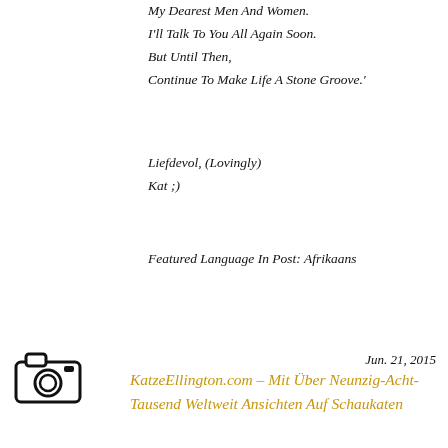My Dearest Men And Women.
I'll Talk To You All Again Soon.
But Until Then,
Continue To Make Life A Stone Groove.'
Liefdevol, (Lovingly)
Kat ;)
Featured Language In Post: Afrikaans
[Figure (illustration): Camera icon, black and white line drawing of a camera]
Jun. 21, 2015
KatzeEllington.com – Mit Über Neunzig-Acht-Tausend Weltweit Ansichten Auf Schaukaten
[Figure (illustration): Watercolor painting of tropical flowers in red, orange, yellow, and green]